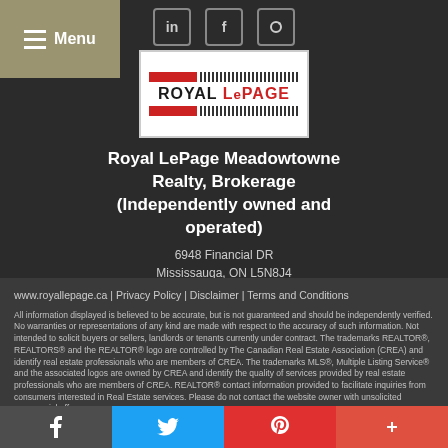[Figure (logo): Royal LePage logo with red bar and barcode graphic, white background]
Royal LePage Meadowtowne Realty, Brokerage (Independently owned and operated)
6948 Financial DR
Mississauga, ON L5N8J4
www.royallepage.ca | Privacy Policy | Disclaimer | Terms and Conditions
All information displayed is believed to be accurate, but is not guaranteed and should be independently verified. No warranties or representations of any kind are made with respect to the accuracy of such information. Not intended to solicit buyers or sellers, landlords or tenants currently under contract. The trademarks REALTOR®, REALTORS® and the REALTOR® logo are controlled by The Canadian Real Estate Association (CREA) and identify real estate professionals who are members of CREA. The trademarks MLS®, Multiple Listing Service® and the associated logos are owned by CREA and identify the quality of services provided by real estate professionals who are members of CREA. REALTOR® contact information provided to facilitate inquiries from consumers interested in Real Estate services. Please do not contact the website owner with unsolicited commercial offers.
Copyright© 2022 Jumptools® Inc. Real Estate Websites for Agents and Brokers.